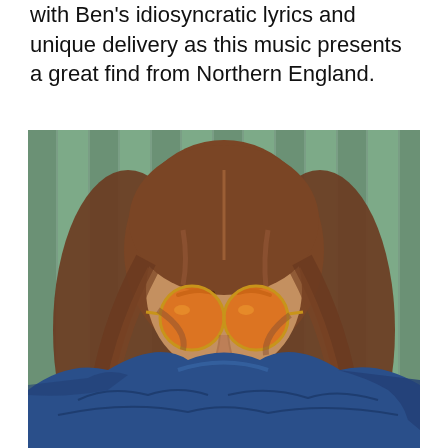with Ben's idiosyncratic lyrics and unique delivery as this music presents a great find from Northern England.
[Figure (photo): A person with long brown hair and an orange-tinted round sunglasses, wrapped in a blue blanket or towel, photographed against a green wooden fence background.]